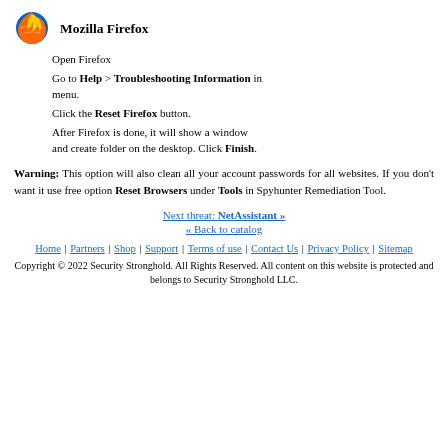[Figure (logo): Mozilla Firefox logo icon (flame around globe)]
Mozilla Firefox
Open Firefox
Go to Help > Troubleshooting Information in menu.
Click the Reset Firefox button.
After Firefox is done, it will show a window and create folder on the desktop. Click Finish.
Warning: This option will also clean all your account passwords for all websites. If you don't want it use free option Reset Browsers under Tools in Spyhunter Remediation Tool.
Next threat: NetAssistant »
« Back to catalog
Home | Partners | Shop | Support | Terms of use | Contact Us | Privacy Policy | Sitemap
Copyright © 2022 Security Stronghold. All Rights Reserved. All content on this website is protected and belongs to Security Stronghold LLC.